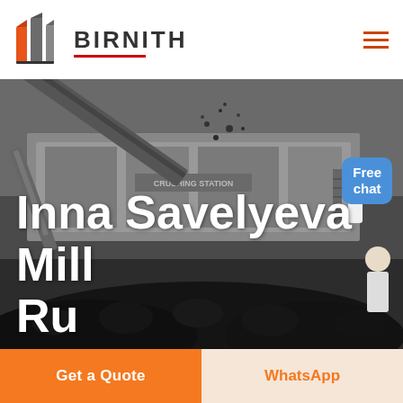[Figure (logo): Birnith company logo: orange and grey building/skyscraper icon with BIRNITH text and red underline]
[Figure (photo): Industrial crushing station machinery with large equipment, conveyor belts, and piles of crushed rock/coal in dark grey tones]
Inna Savelyeva Mill Ru
Free chat
Get a Quote
WhatsApp